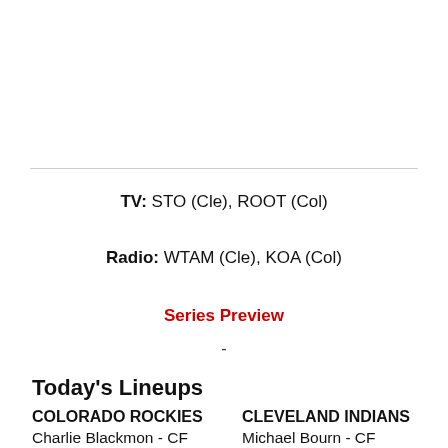TV: STO (Cle), ROOT (Col)
Radio: WTAM (Cle), KOA (Col)
Series Preview
-
Today's Lineups
| COLORADO ROCKIES | CLEVELAND INDIANS |
| --- | --- |
| Charlie Blackmon - CF | Michael Bourn - CF |
| Corey Dickerson - DH | Asdrubal Cabrera - SS |
| Troy Tulowitzki - SS | Michael Brantley - LF |
| Carlos Gonzalez - LF | Jason Kipnis - 2B |
| Michael Cuddyer - RF | Lonnie Chisenhall - 3B |